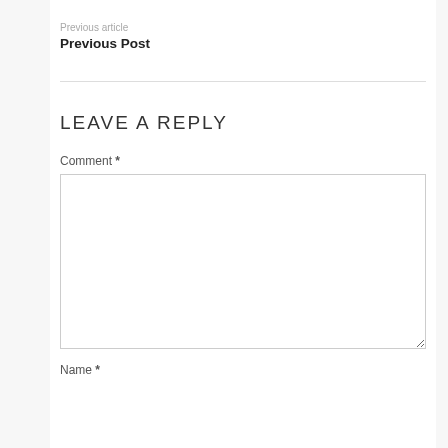Previous article
Previous Post
LEAVE A REPLY
Comment *
Name *